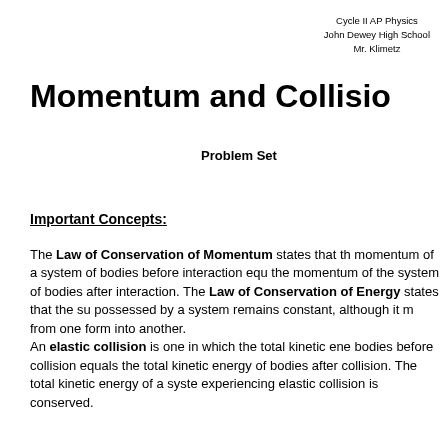Cycle II AP Physics
John Dewey High School
Mr. Klimetz
Momentum and Collisio
Problem Set
Important Concepts:
The Law of Conservation of Momentum states that the momentum of a system of bodies before interaction equals the momentum of the system of bodies after interaction. The Law of Conservation of Energy states that the sum of energy possessed by a system remains constant, although it may change from one form into another. An elastic collision is one in which the total kinetic energy of bodies before collision equals the total kinetic energy of the bodies after collision. The total kinetic energy of a system experiencing elastic collision is conserved.